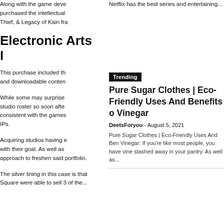Along with the game deve purchased the intellectual Thief, & Legacy of Kain fra
Electronic Arts I
This purchase included th and downloadable conten
While some may surprise studio roster so soon afte consistent with the games IPs.
Acquiring studios having e with their goal. As well as approach to freshen said portfolio.
The silver lining in this case is that Square were able to sell 3 of the...
Netflix has the best series and entertaining...
Trending
Pure Sugar Clothes | Eco-Friendly Uses And Benefits of Vinegar
DeetsForyou - August 5, 2021
Pure Sugar Clothes | Eco-Friendly Uses And Benefits of Vinegar: If you're like most people, you have vine stashed away in your pantry. As well as...